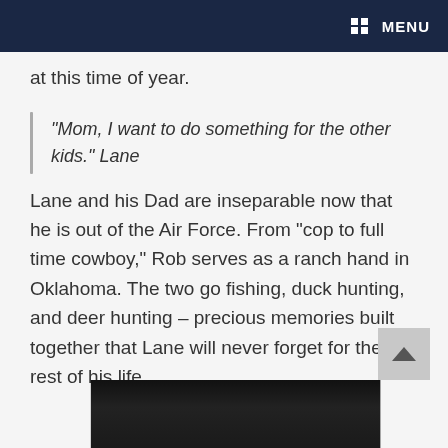MENU
at this time of year.
“Mom, I want to do something for the other kids.” Lane
Lane and his Dad are inseparable now that he is out of the Air Force. From “cop to full time cowboy,” Rob serves as a ranch hand in Oklahoma. The two go fishing, duck hunting, and deer hunting – precious memories built together that Lane will never forget for the rest of his life.
[Figure (photo): Dark photo showing a person, partially visible at the bottom of the page]